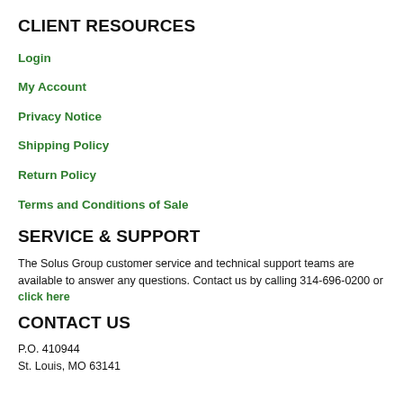CLIENT RESOURCES
Login
My Account
Privacy Notice
Shipping Policy
Return Policy
Terms and Conditions of Sale
SERVICE & SUPPORT
The Solus Group customer service and technical support teams are available to answer any questions. Contact us by calling 314-696-0200 or click here
CONTACT US
P.O. 410944
St. Louis, MO 63141